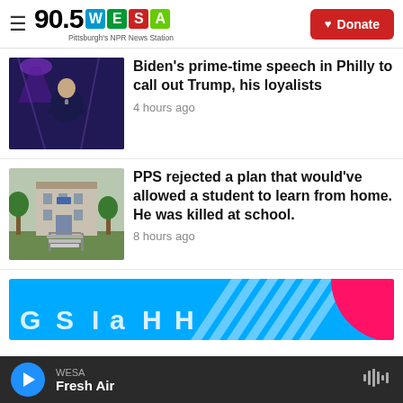90.5 WESA Pittsburgh's NPR News Station | Donate
[Figure (photo): Photo of Biden speaking at a podium with purple stage lighting]
Biden's prime-time speech in Philly to call out Trump, his loyalists
4 hours ago
[Figure (photo): Photo of a school building exterior with stairs and green trees]
PPS rejected a plan that would've allowed a student to learn from home. He was killed at school.
8 hours ago
[Figure (illustration): Blue advertisement banner with diagonal stripe pattern and pink circle element]
WESA | Fresh Air (audio player bar)